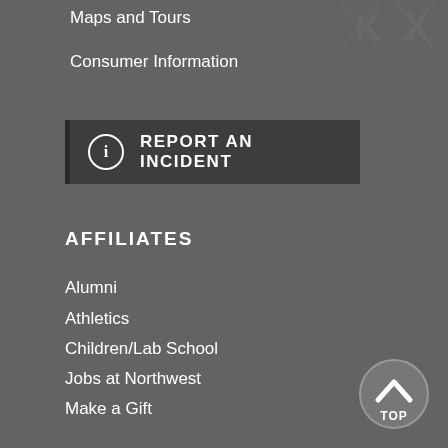Maps and Tours
Consumer Information
[Figure (other): Report an Incident button with info icon]
AFFILIATES
Alumni
Athletics
Children/Lab School
Jobs at Northwest
Make a Gift
Northwest Online
Northwest-Kansas City
[Figure (other): Back to top button with chevron up arrow and TOP label]